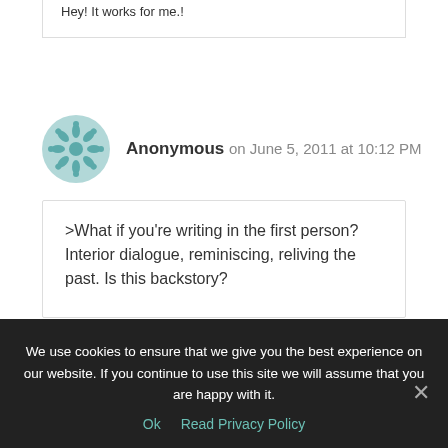Hey! It works for me.!
Anonymous on June 5, 2011 at 10:12 PM
>What if you're writing in the first person? Interior dialogue, reminiscing, reliving the past. Is this backstory?
We use cookies to ensure that we give you the best experience on our website. If you continue to use this site we will assume that you are happy with it.
Ok   Read Privacy Policy